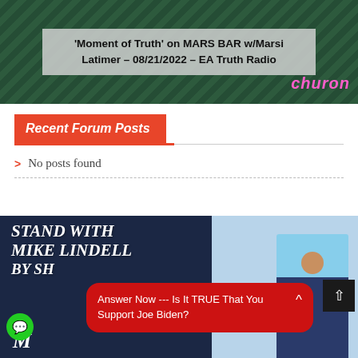[Figure (photo): Banner image with dark green background and centered gray overlay box containing bold text about 'Moment of Truth' on MARS BAR w/Marsi Latimer radio show, with pink 'churon' text on right]
Recent Forum Posts
No posts found
[Figure (photo): Bottom banner with dark navy left panel showing 'STAND WITH MIKE LINDELL BY SH...' text and a red popup bubble saying 'Answer Now --- Is It TRUE That You Support Joe Biden?' with a person visible on the right side, scroll-to-top button, and green chat icon]